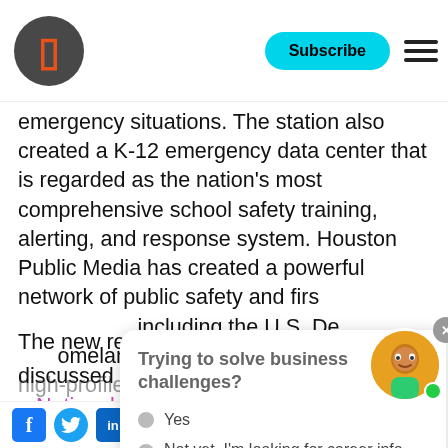Subscribe
emergency situations. The station also created a K-12 emergency data center that is regarded as the nation's most comprehensive school safety training, alerting, and response system. Houston Public Media has created a powerful network of public safety and first responders, including the U.S. Department of Homeland Security, that meets both high-profile security challenges like the recent Super Bowl and the everyday requirements of keeping millions of citizens of Houston safe.
[Figure (other): Chat popup with question 'Trying to solve business challenges?' with options 'Yes' and 'Not yet. I'm looking for career info']
The new research findings will be discussed on Tuesday, April 25th as part of a National Association of Broadcasters panel on utilizing public broadcast network for public safety.
[Figure (other): Chatbot avatar with green dot]
Facebook Twitter LinkedIn social share buttons